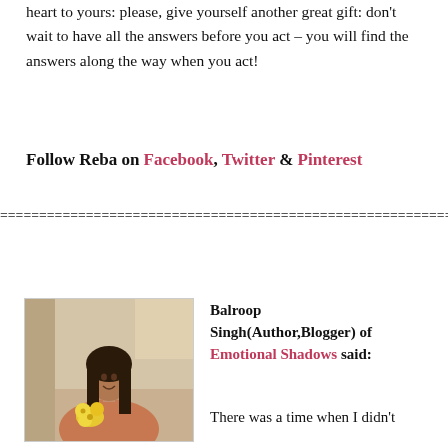heart to yours: please, give yourself another great gift: don’t wait to have all the answers before you act – you will find the answers along the way when you act!
Follow Reba on Facebook, Twitter & Pinterest
=================================================
[Figure (photo): Photo of Balroop Singh, a woman with dark hair holding yellow flowers, indoors]
Balroop Singh(Author,Blogger) of Emotional Shadows said:

There was a time when I didn’t